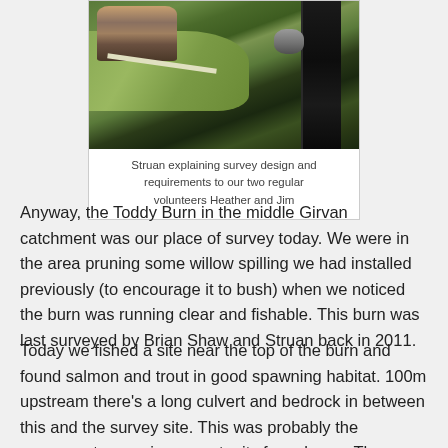[Figure (photo): Outdoor scene showing people by a dark stream or burn, surrounded by green grass. A white pole or rod is visible on the ground. Rocks are near the water on the right side.]
Struan explaining survey design and requirements to our two regular volunteers Heather and Jim
Anyway, the Toddy Burn in the middle Girvan catchment was our place of survey today. We were in the area pruning some willow spilling we had installed previously (to encourage it to bush) when we noticed the burn was running clear and fishable. This burn was last surveyed by Brian Shaw and Struan back in 2011.
Today we fished a site near the top of the burn and found salmon and trout in good spawning habitat. 100m upstream there's a long culvert and bedrock in between this and the survey site. This was probably the uppermost spawning opportunity for salmon.  The culvert is 120m long and may